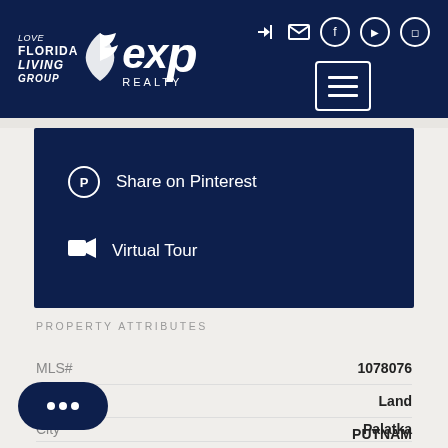[Figure (logo): Love Florida Living Group / eXp Realty logo in white on dark navy header]
Share on Pinterest
Virtual Tour
PROPERTY ATTRIBUTES
| Attribute | Value |
| --- | --- |
| MLS# | 1078076 |
| Type | Land |
|  | PUTNAM |
| City | Palatka |